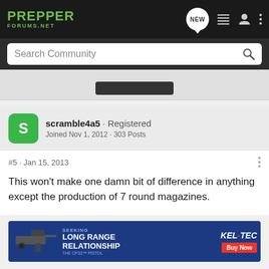PREPPER FORUMS.NET
Search Community
[Figure (screenshot): Partial cropped content area at top of post thread]
scramble4a5 · Registered
Joined Nov 1, 2012 · 303 Posts
#5 · Jan 15, 2013
This won't make one damn bit of difference in anything except the production of 7 round magazines.
[Figure (photo): Advertisement banner: Kel-Tec CP33 pistol ad reading SEEKING LONG RANGE RELATIONSHIP with Buy Now button]